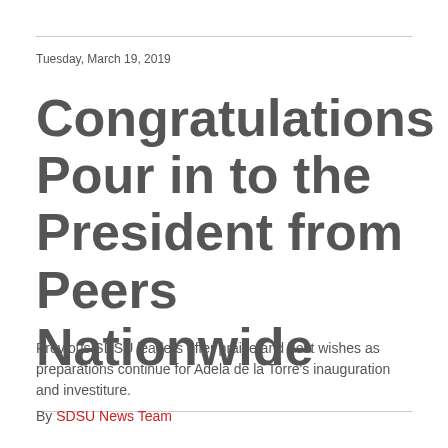Tuesday, March 19, 2019
Congratulations Pour in to the President from Peers Nationwide
Previous SDSU leaders offer praise and best wishes as preparations continue for Adela de la Torre's inauguration and investiture.
By SDSU News Team